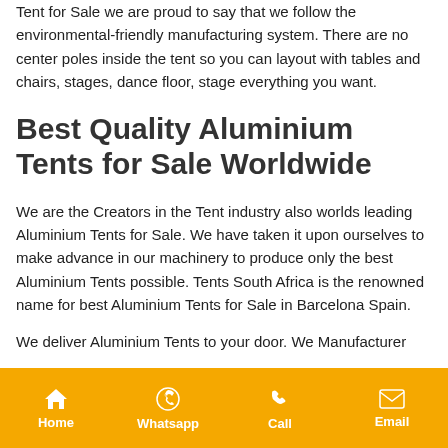Tent for Sale we are proud to say that we follow the environmental-friendly manufacturing system. There are no center poles inside the tent so you can layout with tables and chairs, stages, dance floor, stage everything you want.
Best Quality Aluminium Tents for Sale Worldwide
We are the Creators in the Tent industry also worlds leading Aluminium Tents for Sale. We have taken it upon ourselves to make advance in our machinery to produce only the best Aluminium Tents possible. Tents South Africa is the renowned name for best Aluminium Tents for Sale in Barcelona Spain.
We deliver Aluminium Tents to your door. We Manufacturer...
Home | Whatsapp | Call | Email